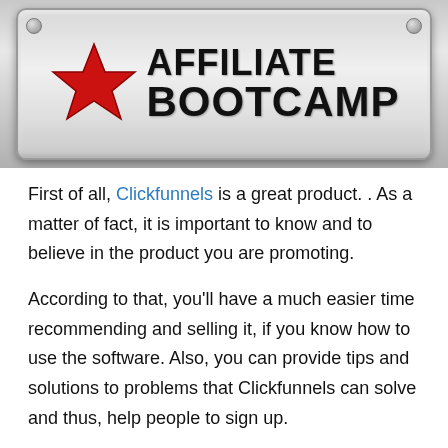[Figure (logo): Affiliate Bootcamp banner image with metallic plate background, red star icon on the left, and bold black text reading AFFILIATE BOOTCAMP]
First of all, Clickfunnels is a great product. . As a matter of fact, it is important to know and to believe in the product you are promoting.
According to that, you'll have a much easier time recommending and selling it, if you know how to use the software. Also, you can provide tips and solutions to problems that Clickfunnels can solve and thus, help people to sign up.
Of course, you don't want to promote products that